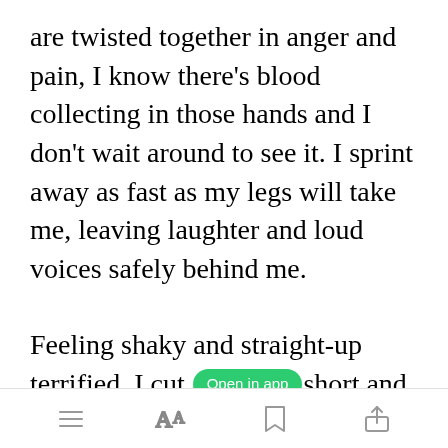are twisted together in anger and pain, I know there's blood collecting in those hands and I don't wait around to see it. I sprint away as fast as my legs will take me, leaving laughter and loud voices safely behind me.
Feeling shaky and straight-up terrified, I cut [my run] short and
[Figure (screenshot): Green 'Open in app' button overlay appearing mid-sentence in the second paragraph]
Toolbar with menu, font size, bookmark, and share icons